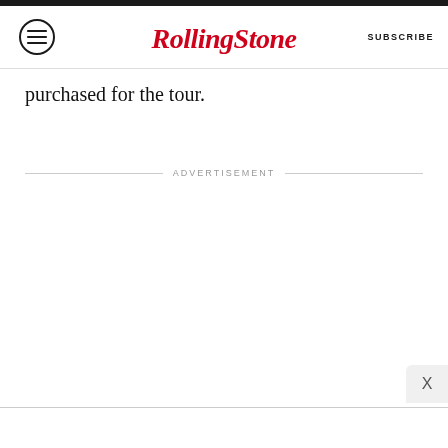RollingStone | SUBSCRIBE
purchased for the tour.
ADVERTISEMENT